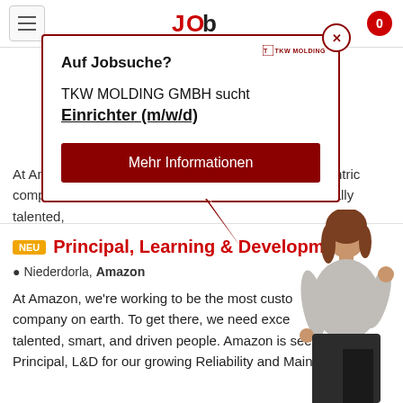Job search website header with hamburger menu, logo, and notification badge (0)
At Amazon, we're working to be the most customer-centric company on earth. To get there, we need exceptionally talented, smart, and driven people. Amazon is seeking a Principal, L&D for our growing Reliability and Maintenance...
19.08.2...  Quelle: www.adzuna.de
[Figure (screenshot): Popup ad modal from TKW MOLDING GMBH. Contains question 'Auf Jobsuche?', company name 'TKW MOLDING GMBH sucht', job title 'Einrichter (m/w/d)', and a red 'Mehr Informationen' button. Has a close X button and speech bubble tail pointing right.]
Principal, Learning & Development
Niederdorla, Amazon
At Amazon, we're working to be the most customer-centric company on earth. To get there, we need exceptionally talented, smart, and driven people. Amazon is seeking a Principal, L&D for our growing Reliability and Maintenance